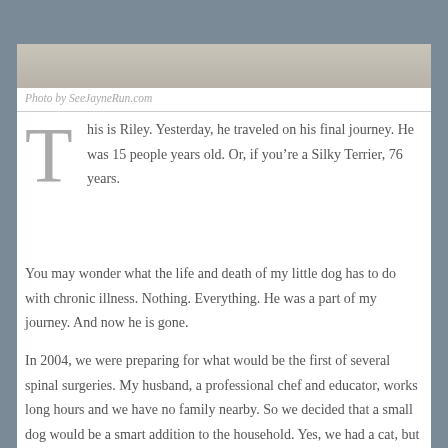[Figure (photo): Close-up photo of a fluffy dog (Riley), showing fur texture, cropped at top of page]
Photo by SeeJayneRun.com
This is Riley. Yesterday, he traveled on his final journey. He was 15 people years old. Or, if you’re a Silky Terrier, 76 years.
You may wonder what the life and death of my little dog has to do with chronic illness. Nothing. Everything. He was a part of my journey. And now he is gone.
In 2004, we were preparing for what would be the first of several spinal surgeries. My husband, a professional chef and educator, works long hours and we have no family nearby. So we decided that a small dog would be a smart addition to the household. Yes, we had a cat, but Max, though very sweet tempered, definitely had her own agenda. I wanted a buddy, a